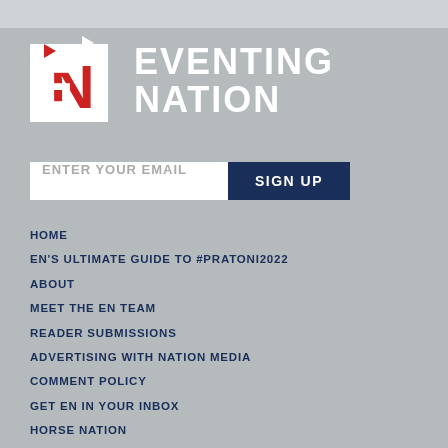[Figure (logo): Eventing Nation logo with EN letters and flag graphic, with text EVENTING NATION]
ENTER YOUR EMAIL
SIGN UP
HOME
EN'S ULTIMATE GUIDE TO #PRATONI2022
ABOUT
MEET THE EN TEAM
READER SUBMISSIONS
ADVERTISING WITH NATION MEDIA
COMMENT POLICY
GET EN IN YOUR INBOX
HORSE NATION
SPORT HORSE NATION